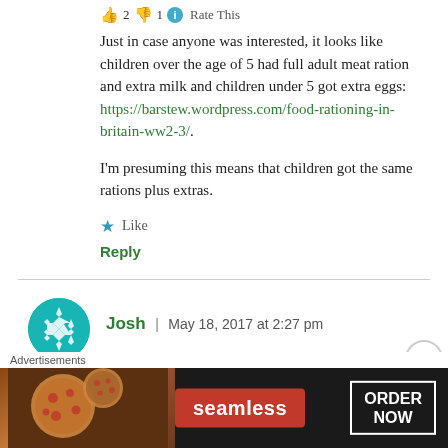👍 2 👎 1 ℹ Rate This
Just in case anyone was interested, it looks like children over the age of 5 had full adult meat ration and extra milk and children under 5 got extra eggs: https://barstew.wordpress.com/food-rationing-in-britain-ww2-3/.
I'm presuming this means that children got the same rations plus extras.
Like
Reply
Josh | May 18, 2017 at 2:27 pm
Advertisements
[Figure (infographic): Seamless food delivery advertisement banner with pizza image on left, Seamless logo in red, and ORDER NOW button]